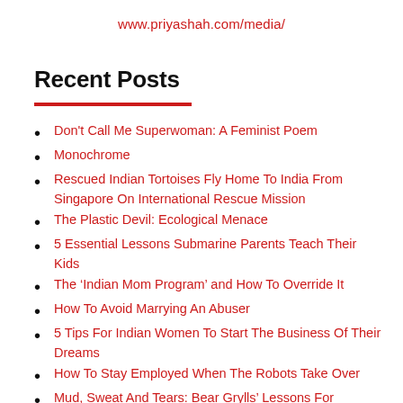www.priyashah.com/media/
Recent Posts
Don't Call Me Superwoman: A Feminist Poem
Monochrome
Rescued Indian Tortoises Fly Home To India From Singapore On International Rescue Mission
The Plastic Devil: Ecological Menace
5 Essential Lessons Submarine Parents Teach Their Kids
The ‘Indian Mom Program’ and How To Override It
How To Avoid Marrying An Abuser
5 Tips For Indian Women To Start The Business Of Their Dreams
How To Stay Employed When The Robots Take Over
Mud, Sweat And Tears: Bear Grylls’ Lessons For Surviving